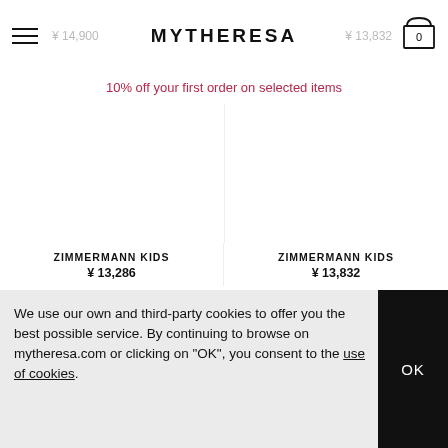MYTHERESA — ¥ 14,900  ¥ 13,832
10% off your first order on selected items
[Figure (photo): Two product images for Zimmermann Kids items, left panel blank/white and right panel blank/white]
ZIMMERMANN KIDS
¥ 13,286
ZIMMERMANN KIDS
¥ 13,832
We use our own and third-party cookies to offer you the best possible service. By continuing to browse on mytheresa.com or clicking on "OK", you consent to the use of cookies.